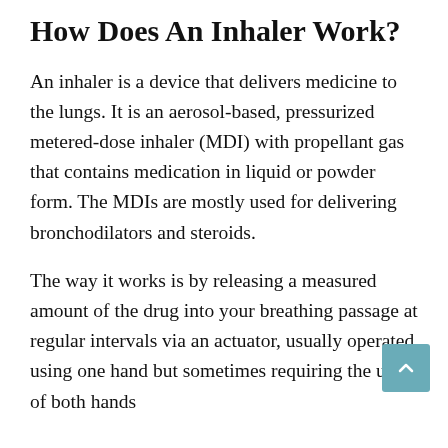How Does An Inhaler Work?
An inhaler is a device that delivers medicine to the lungs. It is an aerosol-based, pressurized metered-dose inhaler (MDI) with propellant gas that contains medication in liquid or powder form. The MDIs are mostly used for delivering bronchodilators and steroids.
The way it works is by releasing a measured amount of the drug into your breathing passage at regular intervals via an actuator, usually operated using one hand but sometimes requiring the use of both hands